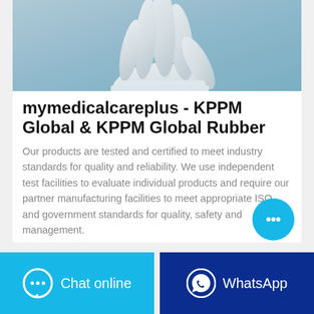[Figure (photo): A gloved hand (white/light blue medical glove) shown against a light blue-grey background, fingers spread upward]
mymedicalcareplus - KPPM Global & KPPM Global Rubber
Our products are tested and certified to meet industry standards for quality and reliability. We use independent test facilities to evaluate individual products and require our partner manufacturing facilities to meet appropriate ISO and government standards for quality, safety and management.
[Figure (other): Floating cyan chat bubble button with three dots icon]
[Figure (other): Footer bar with two buttons: Chat online (cyan) and WhatsApp (dark blue)]